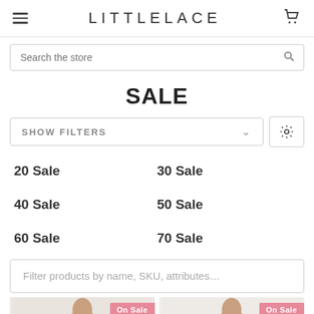LITTLELACE
Search the store
SALE
SHOW FILTERS
20 Sale
30 Sale
40 Sale
50 Sale
60 Sale
70 Sale
Filter products by name, SKU, attributes...
[Figure (photo): Two product cards with On Sale badges showing women in dresses]